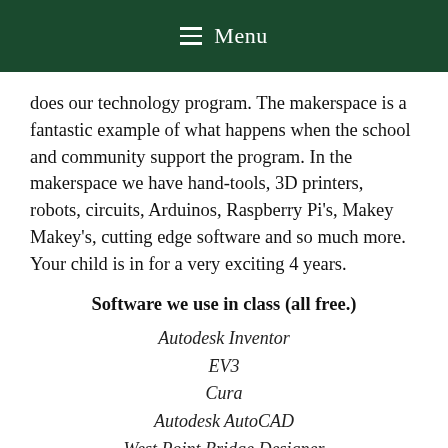Menu
does our technology program. The makerspace is a fantastic example of what happens when the school and community support the program. In the makerspace we have hand-tools, 3D printers, robots, circuits, Arduinos, Raspberry Pi's, Makey Makey's, cutting edge software and so much more. Your child is in for a very exciting 4 years.
Software we use in class (all free.)
Autodesk Inventor
EV3
Cura
Autodesk AutoCAD
West Point Bridge Designer
TinkerCAD (online)